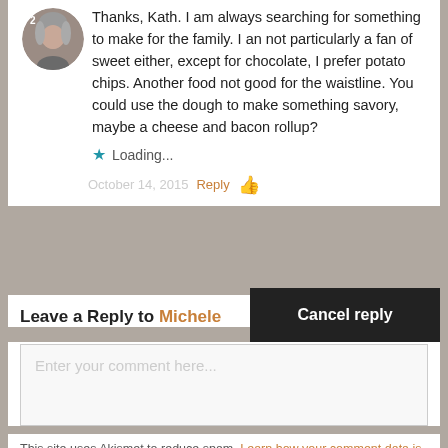[Figure (photo): Circular avatar photo of a woman with gray hair]
Thanks, Kath. I am always searching for something to make for the family. I an not particularly a fan of sweet either, except for chocolate, I prefer potato chips. Another food not good for the waistline. You could use the dough to make something savory, maybe a cheese and bacon rollup?
★ Loading...
October 14, 2015  Reply 👍
Leave a Reply to Michele
Cancel reply
Enter your comment here...
This site uses Akismet to reduce spam. Learn how your comment data is processed.